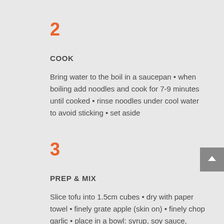2
COOK
Bring water to the boil in a saucepan • when boiling add noodles and cook for 7-9 minutes until cooked • rinse noodles under cool water to avoid sticking • set aside
3
PREP & MIX
Slice tofu into 1.5cm cubes • dry with paper towel • finely grate apple (skin on) • finely chop garlic • place in a bowl: syrup, soy sauce, sesame seeds, 1(2) tbsp of vinegar, gochujang paste, grated